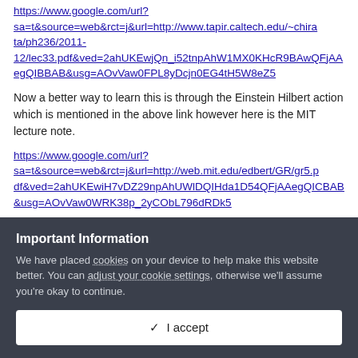https://www.google.com/url?sa=t&source=web&rct=j&url=http://www.tapir.caltech.edu/~chirata/ph236/2011-12/lec33.pdf&ved=2ahUKEwjQn_i52tnpAhW1MX0KHcR9BAwQFjAAegQIBBAB&usg=AOvVaw0FPL8yDcjn0EG4tH5W8eZ5
Now a better way to learn this is through the Einstein Hilbert action which is mentioned in the above link however here is the MIT lecture note.
https://www.google.com/url?sa=t&source=web&rct=j&url=http://web.mit.edu/edbert/GR/gr5.pdf&ved=2ahUKEwiH7vDZ29npAhUWlDQIHda1D54QFjAAegQICBAB&usg=AOvVaw0WRK38p_2yCObL796dRDk5
Important Information
We have placed cookies on your device to help make this website better. You can adjust your cookie settings, otherwise we'll assume you're okay to continue.
✓  I accept